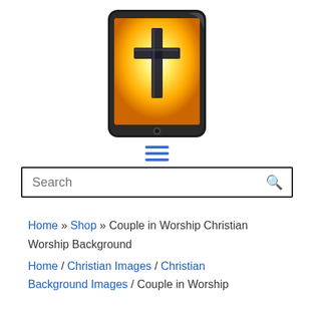[Figure (logo): A tablet device (iPad-like) displaying a glowing cross on an orange/yellow background, serving as a website logo]
[Figure (other): Hamburger menu icon with three horizontal blue lines]
Search
Home » Shop » Couple in Worship Christian Worship Background
Home / Christian Images / Christian Background Images / Couple in Worship